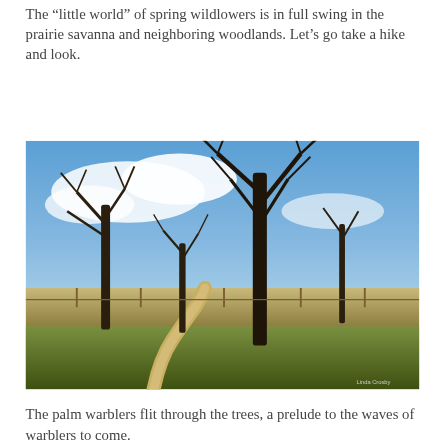The “little world” of spring wildlowers is in full swing in the prairie savanna and neighboring woodlands. Let’s go take a hike and look.
[Figure (photo): A winding dirt path through a prairie savanna landscape with bare trees under a partly cloudy blue sky. Flat open grassland extends to the horizon.]
The palm warblers flit through the trees, a prelude to the waves of warblers to come.
[Figure (photo): Partial view of a bird on bare tree branches against a bright blue sky.]